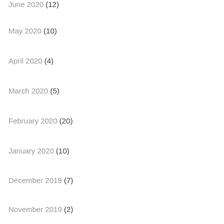June 2020 (12)
May 2020 (10)
April 2020 (4)
March 2020 (5)
February 2020 (20)
January 2020 (10)
December 2019 (7)
November 2019 (2)